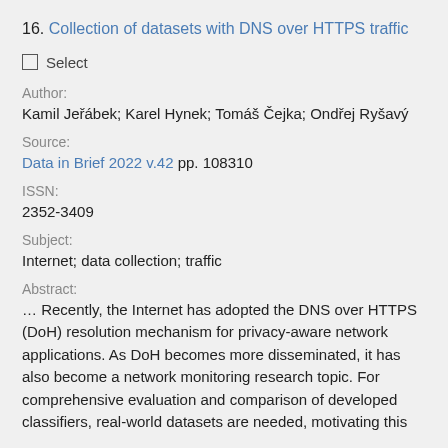16. Collection of datasets with DNS over HTTPS traffic
Select
Author:
Kamil Jeřábek; Karel Hynek; Tomáš Čejka; Ondřej Ryšavý
Source:
Data in Brief 2022 v.42 pp. 108310
ISSN:
2352-3409
Subject:
Internet; data collection; traffic
Abstract:
… Recently, the Internet has adopted the DNS over HTTPS (DoH) resolution mechanism for privacy-aware network applications. As DoH becomes more disseminated, it has also become a network monitoring research topic. For comprehensive evaluation and comparison of developed classifiers, real-world datasets are needed, motivating this